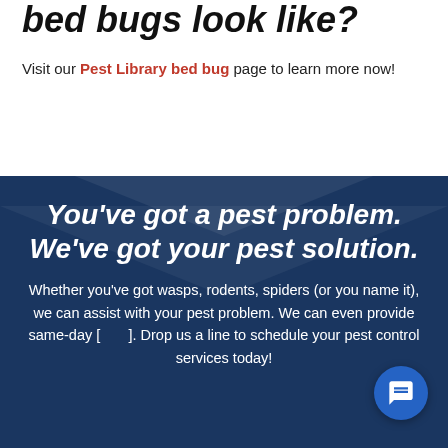bed bugs look like?
Visit our Pest Library bed bug page to learn more now!
You've got a pest problem. We've got your pest solution.
Whether you've got wasps, rodents, spiders (or you name it), we can assist with your pest problem. We can even provide same-day [services]. Drop us a line to schedule your pest control services today!